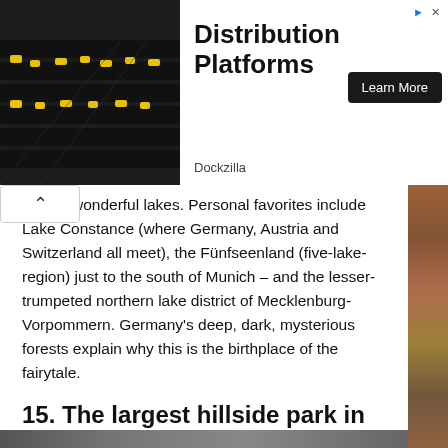[Figure (photo): Advertisement banner showing a warehouse/dock loading area with black mats and yellow equipment on the left, and ad text on the right]
l some wonderful lakes. Personal favorites include Lake Constance (where Germany, Austria and Switzerland all meet), the Fünfseenland (five-lake-region) just to the south of Munich – and the lesser-trumpeted northern lake district of Mecklenburg-Vorpommern. Germany's deep, dark, mysterious forests explain why this is the birthplace of the fairytale.
15. The largest hillside park in Europe
The Bergpark Wilhelmshöhe is best known for its incredible cascading falls – 350 m in length – and grand fountain, which shoots water 50 m into the air. It was made a Unesco World Heritage Site in 2013.